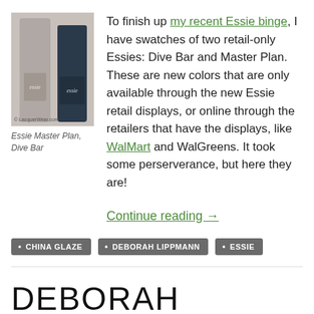[Figure (photo): Two Essie nail polish bottles side by side — one taupe/grey on the left and one dark navy/blue on the right — with a watermark reading LacquerWear.com]
Essie Master Plan, Dive Bar
To finish up my recent Essie binge, I have swatches of two retail-only Essies: Dive Bar and Master Plan. These are new colors that are only available through the new Essie retail displays, or online through the retailers that have the displays, like WalMart and WalGreens. It took some perserverance, but here they are!
Continue reading →
CHINA GLAZE
DEBORAH LIPPMANN
ESSIE
DEBORAH LIPPMANN